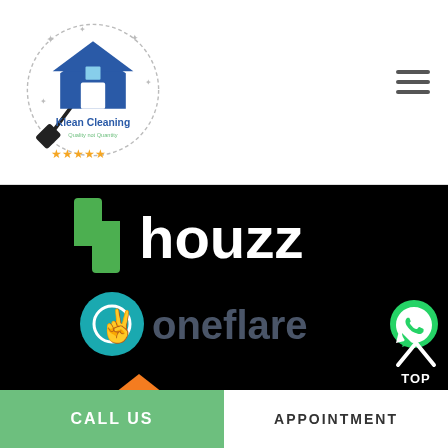[Figure (logo): Klean Cleaning logo with house icon, broom, sparkles, and 5 gold stars. Tagline: Quality not Quantity]
[Figure (logo): Houzz logo: green h-shaped icon with white 'houzz' text on black background]
[Figure (logo): Oneflare logo: teal hand/flame icon with dark 'oneflare' text on black background]
[Figure (logo): WhatsApp icon: green circle with white phone handset]
[Figure (logo): hipages logo: orange house pentagon with 'hi' text inside, 'pages' in white on black background]
TOP
CALL US
APPOINTMENT